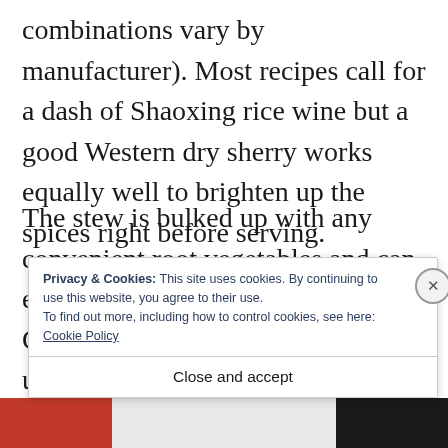combinations vary by manufacturer). Most recipes call for a dash of Shaoxing rice wine but a good Western dry sherry works equally well to brighten up the spices right before serving.
The stew is bulked up with any convenient root vegetables and can even be served over cooked rice. Chopped herbs or parsley can be used to finish but take care not to overdo the smooth s
Privacy & Cookies: This site uses cookies. By continuing to use this website, you agree to their use.
To find out more, including how to control cookies, see here: Cookie Policy
Close and accept